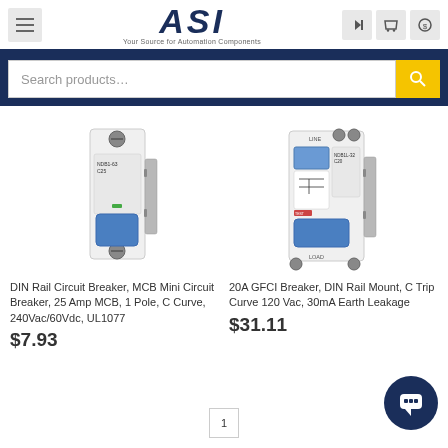ASI — Your Source for Automation Components
Search products…
[Figure (photo): DIN Rail Circuit Breaker, MCB Mini Circuit Breaker with blue toggle switch, white housing, DIN rail mount]
[Figure (photo): 20A GFCI Breaker, DIN Rail Mount with blue toggle switch, white housing, showing LINE and LOAD labels]
DIN Rail Circuit Breaker, MCB Mini Circuit Breaker, 25 Amp MCB, 1 Pole, C Curve, 240Vac/60Vdc, UL1077
$7.93
20A GFCI Breaker, DIN Rail Mount, C Trip Curve 120 Vac, 30mA Earth Leakage
$31.11